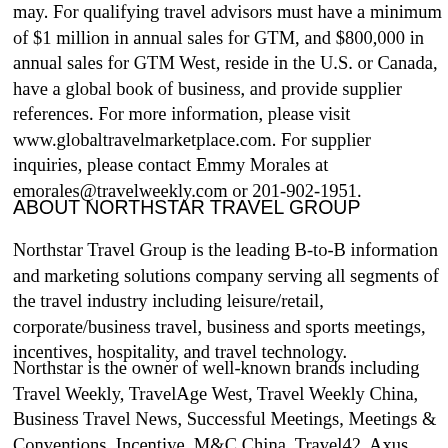may. For qualifying travel advisors must have a minimum of $1 million in annual sales for GTM, and $800,000 in annual sales for GTM West, reside in the U.S. or Canada, have a global book of business, and provide supplier references. For more information, please visit www.globaltravelmarketplace.com. For supplier inquiries, please contact Emmy Morales at emorales@travelweekly.com or 201-902-1951.
ABOUT NORTHSTAR TRAVEL GROUP
Northstar Travel Group is the leading B-to-B information and marketing solutions company serving all segments of the travel industry including leisure/retail, corporate/business travel, business and sports meetings, incentives, hospitality, and travel technology.
Northstar is the owner of well-known brands including Travel Weekly, TravelAge West, Travel Weekly China, Business Travel News, Successful Meetings, Meetings & Conventions, Incentive, M&C China, Travel42, Axus Travel